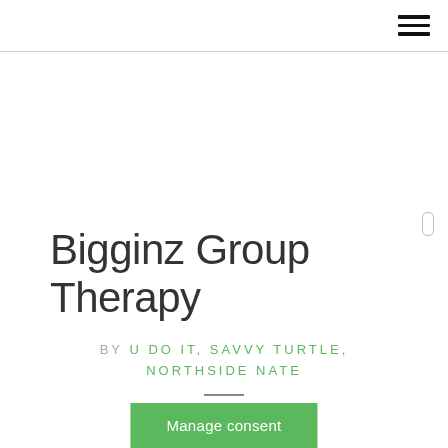☰ (hamburger menu icon)
Bigginz Group Therapy
BY U DO IT, SAVVY TURTLE, NORTHSIDE NATE